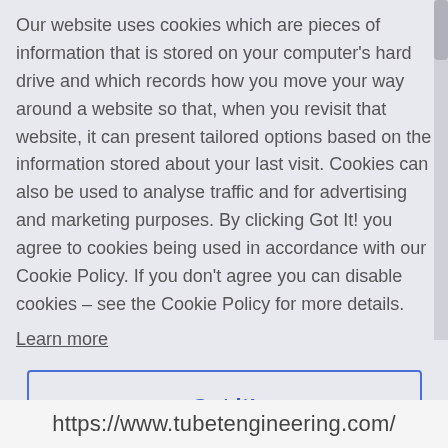Our website uses cookies which are pieces of information that is stored on your computer's hard drive and which records how you move your way around a website so that, when you revisit that website, it can present tailored options based on the information stored about your last visit. Cookies can also be used to analyse traffic and for advertising and marketing purposes. By clicking Got It! you agree to cookies being used in accordance with our Cookie Policy. If you don't agree you can disable cookies – see the Cookie Policy for more details.
Learn more
Got it!
https://www.tubetengineering.com/